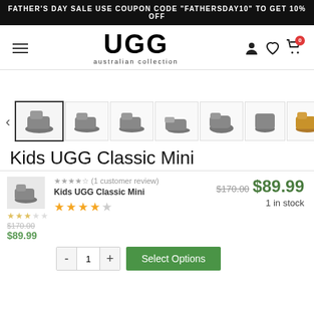FATHER'S DAY SALE USE COUPON CODE "FATHERSDAY10" TO GET 10% OFF
[Figure (logo): UGG Australian Collection logo with hamburger menu and cart/wishlist icons]
[Figure (photo): Product thumbnail carousel showing Kids UGG Classic Mini boots in grey and tan, 7 thumbnails with left/right arrows]
Kids UGG Classic Mini
★★★★☆ (1 customer review)
Kids UGG Classic Mini
⭐⭐⭐⭐☆
$170.00  $89.99
1 in stock
- 1 + Select Options